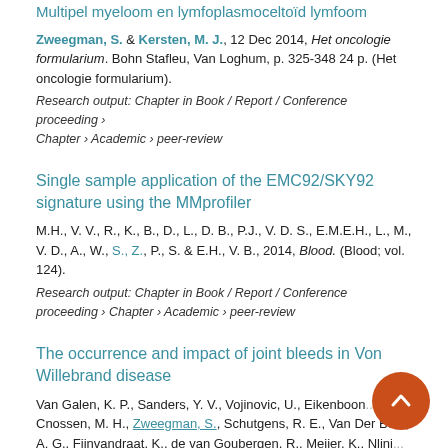Multipel myeloom en lymfoplasmoceltoïd lymfoom
Zweegman, S. & Kersten, M. J., 12 Dec 2014, Het oncologie formularium. Bohn Stafleu, Van Loghum, p. 325-348 24 p. (Het oncologie formularium).
Research output: Chapter in Book / Report / Conference proceeding › Chapter › Academic › peer-review
Single sample application of the EMC92/SKY92 signature using the MMprofiler
M.H., V. V., R., K., B., D., L., D. B., P.J., V. D. S., E.M.E.H., L., M., V. D., A., W., S., Z., P., S. & E.H., V. B., 2014, Blood. (Blood; vol. 124).
Research output: Chapter in Book / Report / Conference proceeding › Chapter › Academic › peer-review
The occurrence and impact of joint bleeds in Von Willebrand disease
Van Galen, K. P., Sanders, Y. V., Vojinovic, U., Eikenboom, J., Cnossen, M. H., Zweegman, S., Schutgens, R. E., Van Der Bom, A. G., Fijnvandraat, K., de van Goubergen, R., Meijer, K., Nlini, d...